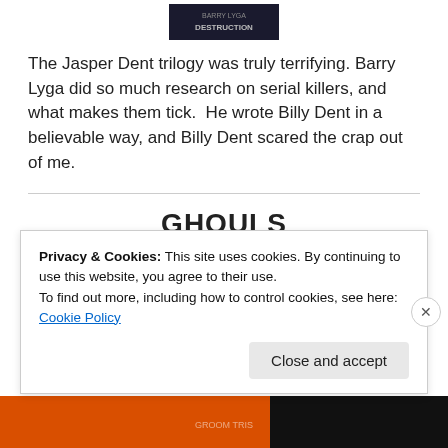[Figure (photo): Book cover image at top, dark background with text]
The Jasper Dent trilogy was truly terrifying. Barry Lyga did so much research on serial killers, and what makes them tick.  He wrote Billy Dent in a believable way, and Billy Dent scared the crap out of me.
GHOULS
A book that left you hungry
[Figure (photo): Book cover image, teal/dark sci-fi style with text overlay]
Privacy & Cookies: This site uses cookies. By continuing to use this website, you agree to their use.
To find out more, including how to control cookies, see here: Cookie Policy
Close and accept